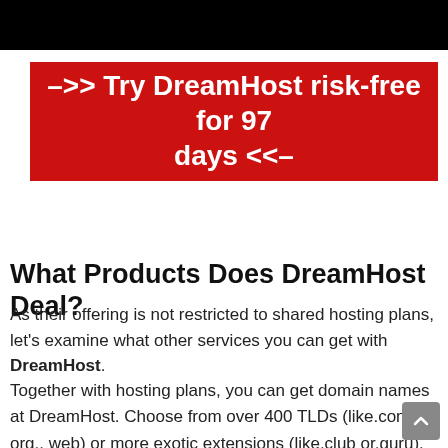[Figure (other): Black bar at the top of the page]
–>> Try DreamHost risk-free for 97 days <<–
What Products Does DreamHost Deal?
As their offering is not restricted to shared hosting plans, let's examine what other services you can get with DreamHost.
Together with hosting plans, you can get domain names at DreamHost. Choose from over 400 TLDs (like.com,. org,. web) or more exotic extensions (like.club or.guru). Country